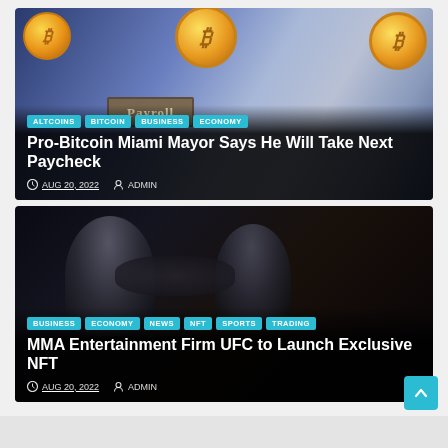[Figure (photo): Bitcoin coins floating above a payroll binder, blue/purple background]
ALTCOINS | BITCOIN | BUSINESS | ECONOMY
Pro-Bitcoin Miami Mayor Says He Will Take Next Paycheck
AUG 20, 2022   ADMIN
[Figure (photo): MMA fighters in fighting stance, dark dramatic background]
BUSINESS | ECONOMY | NEWS | NFT | SPORTS | TRADING
MMA Entertainment Firm UFC to Launch Exclusive NFT
AUG 20, 2022   ADMIN